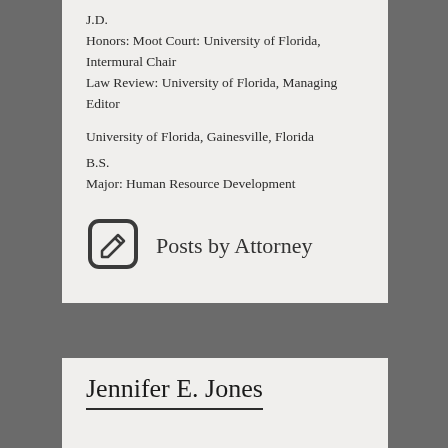J.D.
Honors: Moot Court: University of Florida, Intermural Chair
Law Review: University of Florida, Managing Editor
University of Florida, Gainesville, Florida
B.S.
Major: Human Resource Development
Posts by Attorney
Jennifer E. Jones